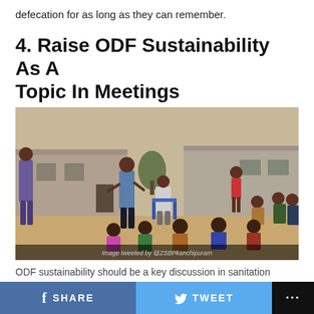defecation for as long as they can remember.
4. Raise ODF Sustainability As A Topic In Meetings
[Figure (photo): Outdoor community meeting with a presenter standing and addressing a seated group of villagers, with a building in the background. Caption overlay reads: Image tweeted by @ZSBPkanchipuram]
ODF sustainability should be a key discussion in sanitation related meetings
SHARE   TWEET   ...